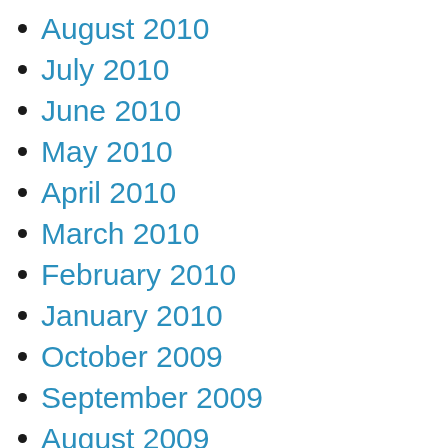August 2010
July 2010
June 2010
May 2010
April 2010
March 2010
February 2010
January 2010
October 2009
September 2009
August 2009
July 2009